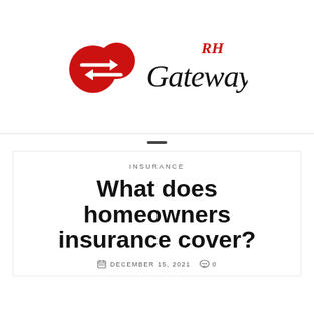[Figure (logo): RH Gateway logo: red circular icon with two horizontal arrows (one pointing right, one pointing left) next to cursive 'Gateway' text with red 'RH' superscript]
INSURANCE
What does homeowners insurance cover?
DECEMBER 15, 2021  0